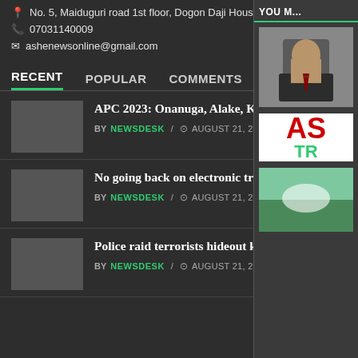No. 5, Maiduguri road 1st floor, Dogon Daji House, Sokoto
07031140009
ashenewsonline@gmail.com
RECENT | POPULAR | COMMENTS
APC 2023: Onanuga, Alake, Keyamo to head campaign media directorate
BY NEWSDESK / AUGUST 21, 2022
No going back on electronic transmission of election results – INEC
BY NEWSDESK / AUGUST 21, 2022
Police raid terrorists hideout kill 1, arrest informant in Katsina
BY NEWSDESK / AUGUST 21, 2022
YOU M...
[Figure (photo): Portrait photo of a man in a suit]
[Figure (logo): AS TR logo/advertisement in red and green]
[Figure (photo): Outdoor/landscape photo]